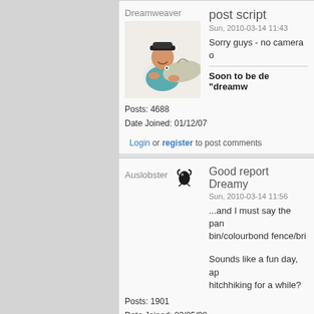[Figure (screenshot): Forum post by Dreamweaver with fish photo avatar. Username, avatar image, post count 4688, date joined 01/12/07, post title 'post script', date Sun 2010-03-14 11:43, partial text 'Sorry guys - no camera...', bold text 'Soon to be de "dreamw...', login/register line.]
[Figure (screenshot): Forum post by Auslobster with lobster icon. Username, post count 1901, date joined 03/05/08, post title 'Good report Dreamy', date Sun 2010-03-14 11:56, text '...and I must say the pan... bin/colourbond fence/bri...', 'Sounds like a fun day, ap... hitchhiking for a while?', login/register line.]
[Figure (screenshot): Partial forum post by Dreamweaver, title 'LOL Cheers John!']